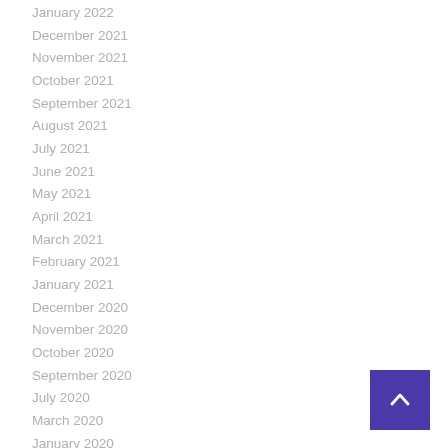January 2022
December 2021
November 2021
October 2021
September 2021
August 2021
July 2021
June 2021
May 2021
April 2021
March 2021
February 2021
January 2021
December 2020
November 2020
October 2020
September 2020
July 2020
March 2020
January 2020
December 2019
[Figure (other): Back to top button — purple square with upward chevron arrow]